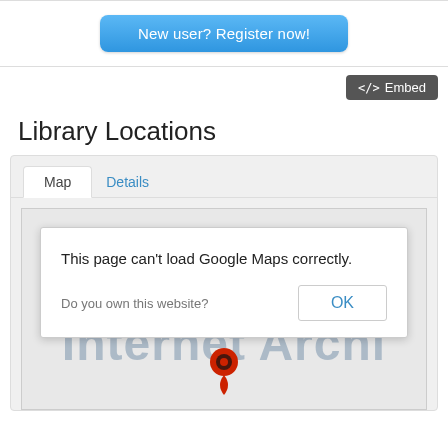[Figure (screenshot): Blue rounded button labeled 'New user? Register now!']
[Figure (screenshot): Dark grey embed button with code icon labeled '<> Embed']
Library Locations
[Figure (screenshot): Map panel with Map/Details tabs, Google Maps error dialog saying 'This page can't load Google Maps correctly.' with 'Do you own this website?' and OK button, and Internet Archive map pin visible below.]